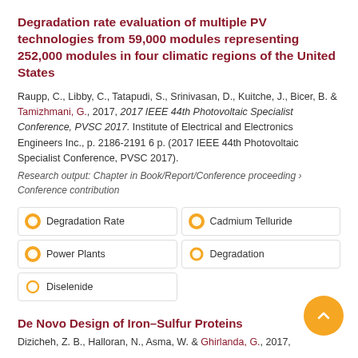Degradation rate evaluation of multiple PV technologies from 59,000 modules representing 252,000 modules in four climatic regions of the United States
Raupp, C., Libby, C., Tatapudi, S., Srinivasan, D., Kuitche, J., Bicer, B. & Tamizhmani, G., 2017, 2017 IEEE 44th Photovoltaic Specialist Conference, PVSC 2017. Institute of Electrical and Electronics Engineers Inc., p. 2186-2191 6 p. (2017 IEEE 44th Photovoltaic Specialist Conference, PVSC 2017).
Research output: Chapter in Book/Report/Conference proceeding › Conference contribution
Degradation Rate
Cadmium Telluride
Power Plants
Degradation
Diselenide
De Novo Design of Iron–Sulfur Proteins
Dizicheh, Z. B., Halloran, N., Asma, W. & Ghirlanda, G., 2017,